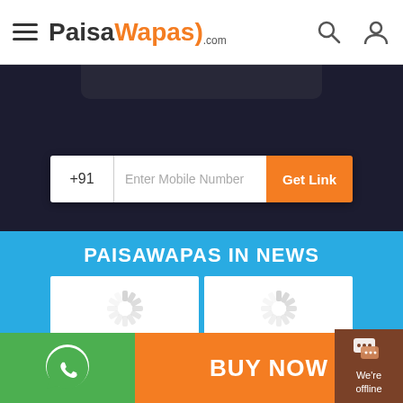PaisaWapas.com
+91  Enter Mobile Number  Get Link
PAISAWAPAS IN NEWS
[Figure (screenshot): Four loading spinner placeholders in a 2x2 grid representing news images for PaisaWapas In News section]
BUY NOW
We're offline